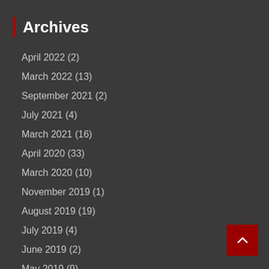Archives
April 2022 (2)
March 2022 (13)
September 2021 (2)
July 2021 (4)
March 2021 (16)
April 2020 (33)
March 2020 (10)
November 2019 (1)
August 2019 (19)
July 2019 (4)
June 2019 (2)
May 2019 (9)
April 2019 (65)
March 2019 (129)